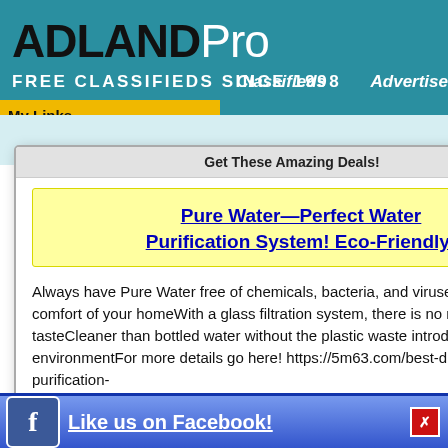ADLANDPro FREE CLASSIFIEDS SINCE 1998
My Links
Classifieds   Advertise
earth unforced bare with many good thin
Get These Amazing Deals!
Pure Water—Perfect Water Purification System! Eco-Friendly!
Always have Pure Water free of chemicals, bacteria, and viruses all in the comfort of your homeWith a glass filtration system, there is no metallic or plastic tasteCleaner than bottled water without the plastic waste introduced into the environmentFor more details go here! https://5m63.com/best-drinking-water-purification-
ge, Hesiod writes, ling asleep. The m ce, so that agricu (Wikipedia)
Like us on Facebook!